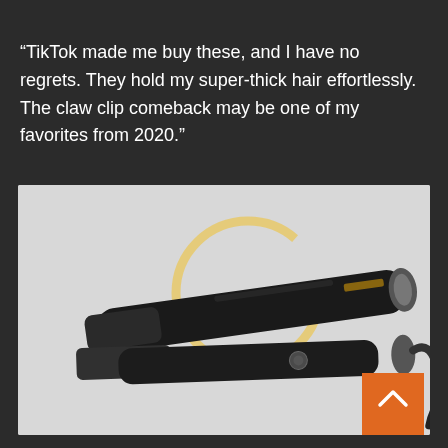“TikTok made me buy these, and I have no regrets. They hold my super-thick hair effortlessly. The claw clip comeback may be one of my favorites from 2020.”
[Figure (photo): A black hair straightener/flat iron with matte black plates shown at an angle on a light grey background. Behind the straightener is a partial golden circle ring graphic. An orange scroll-to-top button with an upward chevron is visible in the bottom-right corner.]